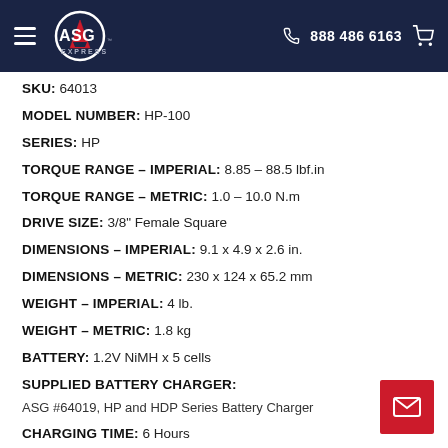ASG Express — 888 486 6163
SKU: 64013
MODEL NUMBER: HP-100
SERIES: HP
TORQUE RANGE - IMPERIAL: 8.85 – 88.5 lbf.in
TORQUE RANGE - METRIC: 1.0 – 10.0 N.m
DRIVE SIZE: 3/8" Female Square
DIMENSIONS - IMPERIAL: 9.1 x 4.9 x 2.6 in.
DIMENSIONS - METRIC: 230 x 124 x 65.2 mm
WEIGHT - IMPERIAL: 4 lb.
WEIGHT - METRIC: 1.8 kg
BATTERY: 1.2V NiMH x 5 cells
SUPPLIED BATTERY CHARGER:
ASG #64019, HP and HDP Series Battery Charger
CHARGING TIME: 6 Hours